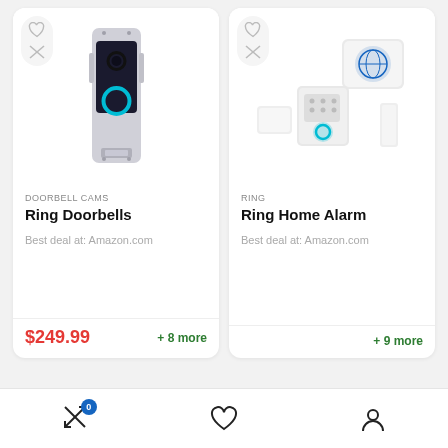[Figure (screenshot): Product card for Ring Doorbells showing a Ring Video Doorbell Pro device image, category label DOORBELL CAMS, title Ring Doorbells, Best deal at: Amazon.com, price $249.99, and + 8 more link]
[Figure (screenshot): Product card for Ring Home Alarm showing a Ring Alarm security kit image, category label RING, title Ring Home Alarm, Best deal at: Amazon.com, and + 9 more link]
Compare (0)  Wishlist  Account